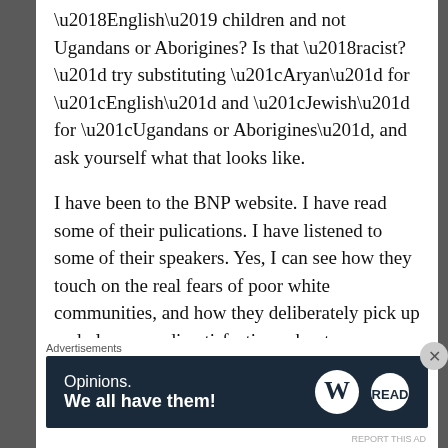‘English’ children and not Ugandans or Aborigines? Is that ‘racist?” try substituting “Aryan” for “English” and “Jewish” for “Ugandans or Aborigines”, and ask yourself what that looks like.
I have been to the BNP website. I have read some of their pulications. I have listened to some of their speakers. Yes, I can see how they touch on the real fears of poor white communities, and how they deliberately pick up and play upon dissatisfactions about
Advertisements
[Figure (other): Advertisement banner with dark blue background. Left side shows text: 'Opinions. We all have them!' Right side shows WordPress logo (W in circle) and another circular logo.]